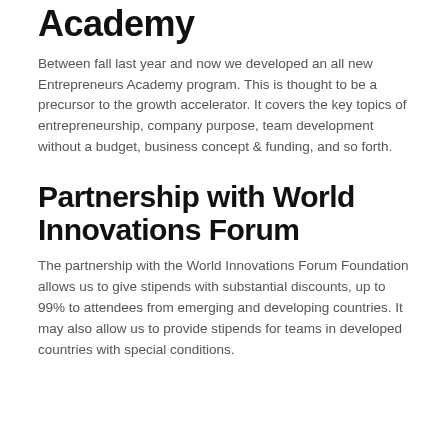Academy
Between fall last year and now we developed an all new Entrepreneurs Academy program. This is thought to be a precursor to the growth accelerator. It covers the key topics of entrepreneurship, company purpose, team development without a budget, business concept & funding, and so forth.
Partnership with World Innovations Forum
The partnership with the World Innovations Forum Foundation allows us to give stipends with substantial discounts, up to 99% to attendees from emerging and developing countries. It may also allow us to provide stipends for teams in developed countries with special conditions.